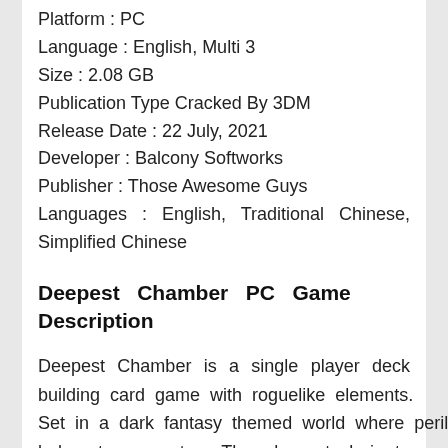Platform : PC
Language : English, Multi 3
Size : 2.08 GB
Publication Type Cracked By 3DM
Release Date : 22 July, 2021
Developer : Balcony Softworks
Publisher : Those Awesome Guys
Languages : English, Traditional Chinese, Simplified Chinese
Deepest Chamber PC Game Description
Deepest Chamber is a single player deck building card game with roguelike elements. Set in a dark fantasy themed world where peril lurks at every step. The player task is to overcome an increasingly challenging descent